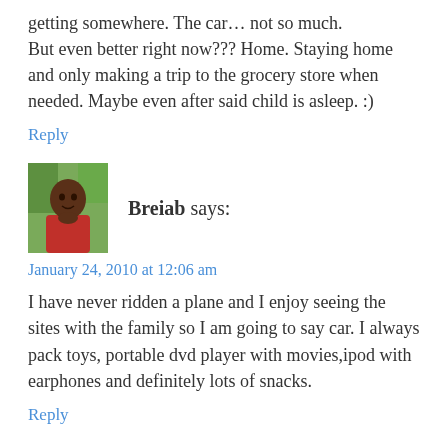getting somewhere. The car… not so much. But even better right now??? Home. Staying home and only making a trip to the grocery store when needed. Maybe even after said child is asleep. :)
Reply
[Figure (photo): Avatar photo of Breiab, a person in a red top with green foliage background]
Breiab says:
January 24, 2010 at 12:06 am
I have never ridden a plane and I enjoy seeing the sites with the family so I am going to say car. I always pack toys, portable dvd player with movies,ipod with earphones and definitely lots of snacks.
Reply